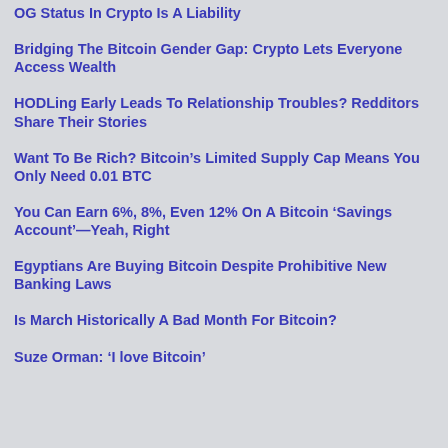OG Status In Crypto Is A Liability
Bridging The Bitcoin Gender Gap: Crypto Lets Everyone Access Wealth
HODLing Early Leads To Relationship Troubles? Redditors Share Their Stories
Want To Be Rich? Bitcoin’s Limited Supply Cap Means You Only Need 0.01 BTC
You Can Earn 6%, 8%, Even 12% On A Bitcoin ‘Savings Account’—Yeah, Right
Egyptians Are Buying Bitcoin Despite Prohibitive New Banking Laws
Is March Historically A Bad Month For Bitcoin?
Suze Orman: ‘I love Bitcoin’